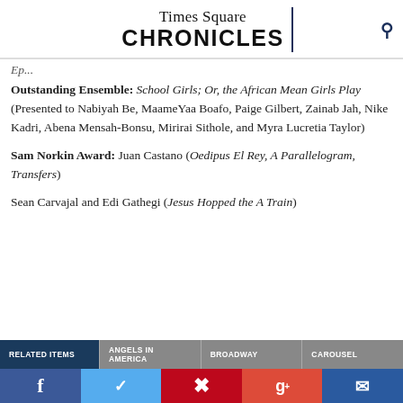Times Square CHRONICLES
Outstanding Ensemble: School Girls; Or, the African Mean Girls Play (Presented to Nabiyah Be, MaameYaa Boafo, Paige Gilbert, Zainab Jah, Nike Kadri, Abena Mensah-Bonsu, Mirirai Sithole, and Myra Lucretia Taylor)
Sam Norkin Award: Juan Castano (Oedipus El Rey, A Parallelogram, Transfers)
Sean Carvajal and Edi Gathegi (Jesus Hopped the A Train)
RELATED ITEMS | ANGELS IN AMERICA | BROADWAY | CAROUSEL